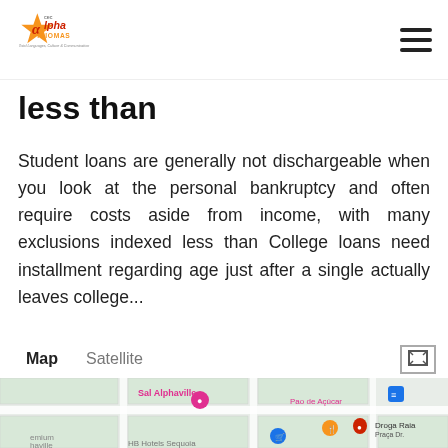[Figure (logo): CEC Alpha Idiomas logo — orange star with Greek letter alpha, text 'cec', 'alpha IDIOMAS', tagline 'Total Languages, Culture & Communication']
less than
Student loans are generally not dischargeable when you look at the personal bankruptcy and often require costs aside from income, with many exclusions indexed less than College loans need installment regarding age just after a single actually leaves college...
Saiba +
[Figure (map): Google Maps embed showing Sal Alphaville area with map/satellite toggle, location pins for Pao de Acucar, Droga Raia, HB Hotels Sequoia, and other nearby places. Map controls show 'Map' selected and 'Satellite' option, with expand icon on right.]